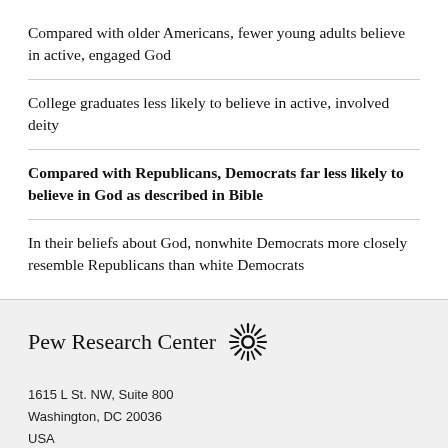Compared with older Americans, fewer young adults believe in active, engaged God
College graduates less likely to believe in active, involved deity
Compared with Republicans, Democrats far less likely to believe in God as described in Bible
In their beliefs about God, nonwhite Democrats more closely resemble Republicans than white Democrats
Pew Research Center
1615 L St. NW, Suite 800
Washington, DC 20036
USA
(+1) 202-419-4300 | Main
(+1) 202-857-8562 | Fax